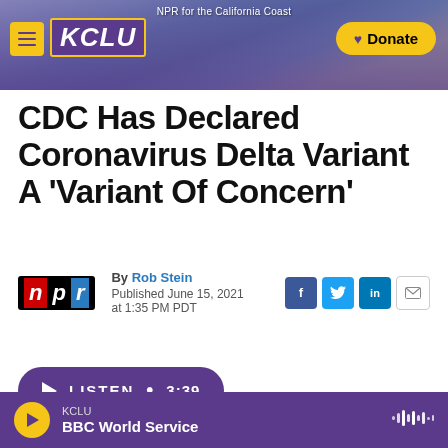[Figure (screenshot): KCLU radio station website header banner with purple background, coastal California photo, hamburger menu button, KCLU logo in yellow border, Donate button in yellow, and 'NPR for the California Coast' tagline]
CDC Has Declared Coronavirus Delta Variant A 'Variant Of Concern'
By Rob Stein
Published June 15, 2021 at 1:35 PM PDT
LISTEN • 3:39
KCLU
BBC World Service